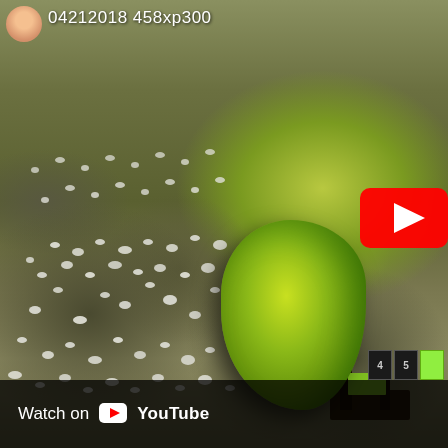[Figure (screenshot): YouTube video thumbnail screenshot showing a green melon or watermelon that has been shot/exploded, sitting on a wooden surface in a field with scattered white debris (likely foam/cotton balls used as targets). A person's face is visible in the top-left corner avatar. The overlay text reads '04212018 458xp300'. A red YouTube play button is visible on the right side. The bottom bar shows 'Watch on YouTube' with the YouTube logo.]